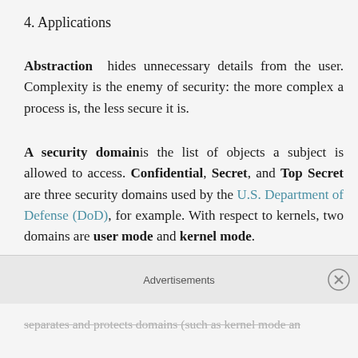4. Applications
Abstraction hides unnecessary details from the user. Complexity is the enemy of security: the more complex a process is, the less secure it is.
A security domain is the list of objects a subject is allowed to access. Confidential, Secret, and Top Secret are three security domains used by the U.S. Department of Defense (DoD), for example. With respect to kernels, two domains are user mode and kernel mode.
The ring model is a form of CPU hardware layering that separates and protects domains (such as kernel mode an…